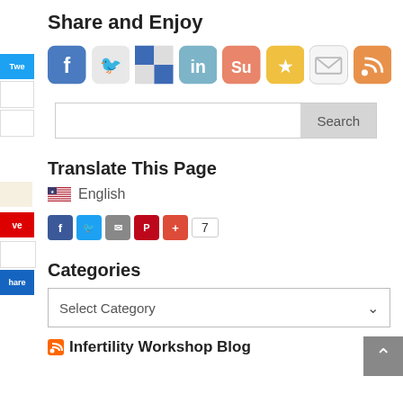Share and Enjoy
[Figure (infographic): Row of 8 social sharing icon buttons: Facebook (blue), Twitter (blue bird), Delicious (checkered), LinkedIn (blue), StumbleUpon (orange/white), Favorites star (yellow), Email (white envelope), RSS (orange)]
[Figure (infographic): Left sidebar with social sharing buttons: Tweet (blue), white button, Save (red), Share (dark blue)]
Search
Translate This Page
English
[Figure (infographic): Row of small social share buttons: Facebook, Twitter, Email, Pinterest, +, count badge showing 7]
Categories
Select Category
Infertility Workshop Blog